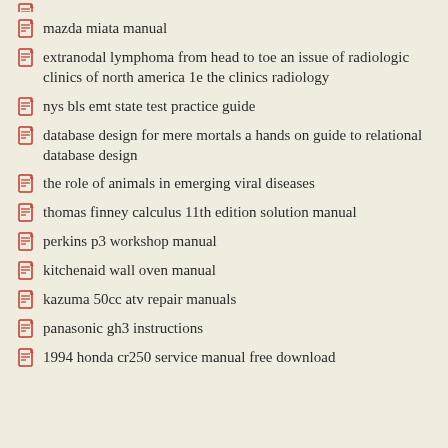mazda miata manual
extranodal lymphoma from head to toe an issue of radiologic clinics of north america 1e the clinics radiology
nys bls emt state test practice guide
database design for mere mortals a hands on guide to relational database design
the role of animals in emerging viral diseases
thomas finney calculus 11th edition solution manual
perkins p3 workshop manual
kitchenaid wall oven manual
kazuma 50cc atv repair manuals
panasonic gh3 instructions
1994 honda cr250 service manual free download